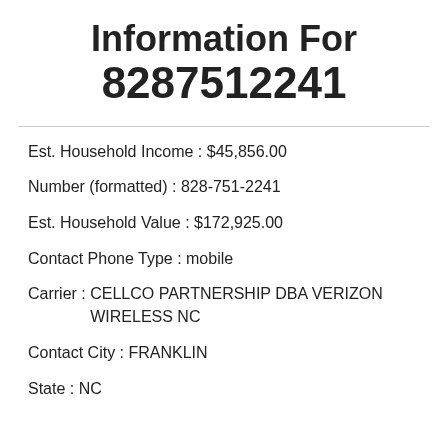Information For 8287512241
Est. Household Income :  $45,856.00
Number (formatted) :  828-751-2241
Est. Household Value :  $172,925.00
Contact Phone Type :  mobile
Carrier :  CELLCO PARTNERSHIP DBA VERIZON WIRELESS NC
Contact City :  FRANKLIN
State :  NC